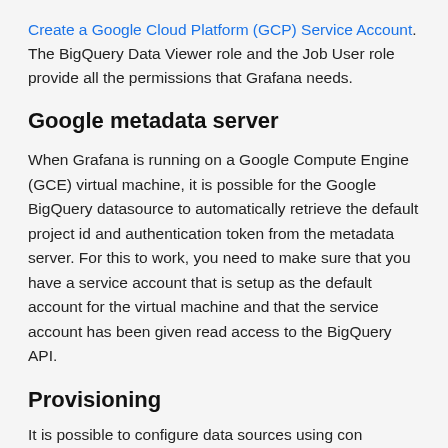Create a Google Cloud Platform (GCP) Service Account. The BigQuery Data Viewer role and the Job User role provide all the permissions that Grafana needs.
Google metadata server
When Grafana is running on a Google Compute Engine (GCE) virtual machine, it is possible for the Google BigQuery datasource to automatically retrieve the default project id and authentication token from the metadata server. For this to work, you need to make sure that you have a service account that is setup as the default account for the virtual machine and that the service account has been given read access to the BigQuery API.
Provisioning
It is possible to configure data sources using configuration...